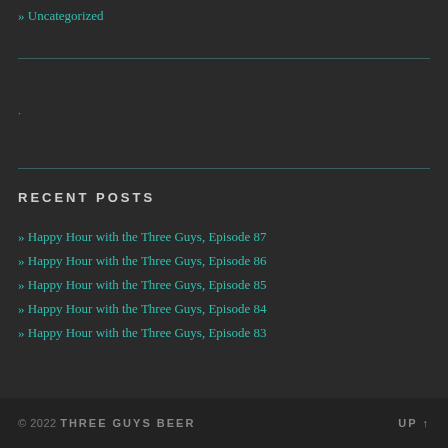» Uncategorized
RECENT POSTS
» Happy Hour with the Three Guys, Episode 87
» Happy Hour with the Three Guys, Episode 86
» Happy Hour with the Three Guys, Episode 85
» Happy Hour with the Three Guys, Episode 84
» Happy Hour with the Three Guys, Episode 83
© 2022 THREE GUYS BEER    UP ↑